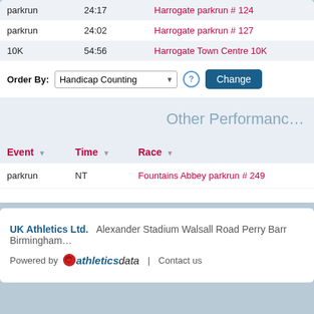| Event | Time | Race |
| --- | --- | --- |
| parkrun | 24:17 | Harrogate parkrun # 124 |
| parkrun | 24:02 | Harrogate parkrun # 127 |
| 10K | 54:56 | Harrogate Town Centre 10K |
Order By: Handicap Counting [Change]
Other Performance
| Event | Time | Race |
| --- | --- | --- |
| parkrun | NT | Fountains Abbey parkrun # 249 |
UK Athletics Ltd. Alexander Stadium Walsall Road Perry Barr Birmingham | Powered by athleticsdata | Contact us